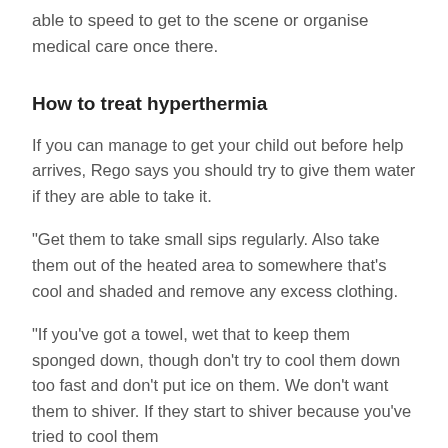able to speed to get to the scene or organise medical care once there.
How to treat hyperthermia
If you can manage to get your child out before help arrives, Rego says you should try to give them water if they are able to take it.
“Get them to take small sips regularly. Also take them out of the heated area to somewhere that’s cool and shaded and remove any excess clothing.
“If you’ve got a towel, wet that to keep them sponged down, though don’t try to cool them down too fast and don’t put ice on them. We don’t want them to shiver. If they start to shiver because you’ve tried to cool them